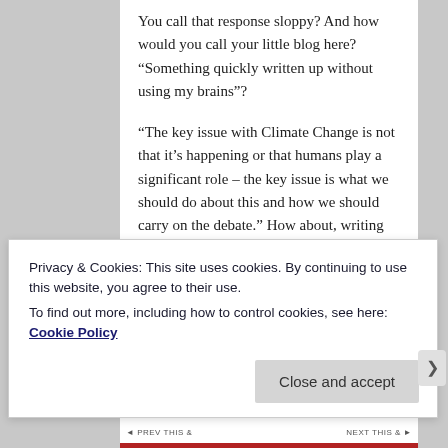You call that response sloppy? And how would you call your little blog here? “Something quickly written up without using my brains”?
“The key issue with Climate Change is not that it’s happening or that humans play a significant role – the key issue is what we should do about this and how we should carry on the debate.” How about, writing long, incoherent articles in NYRB discussing fantasy scenarios like Dyson’s idea to replant one quarter of the planet with genetically engineered wonder trees? That sounds like a really “insightful” way to carry on the debate. Thank you so much, Freeman Dyson. And we
Privacy & Cookies: This site uses cookies. By continuing to use this website, you agree to their use.
To find out more, including how to control cookies, see here: Cookie Policy